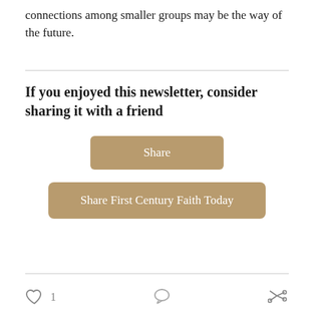connections among smaller groups may be the way of the future.
If you enjoyed this newsletter, consider sharing it with a friend
[Figure (other): Share button — tan/brown rounded rectangle with white text 'Share']
[Figure (other): Share First Century Faith Today button — tan/brown rounded rectangle with white text]
[Figure (other): Footer bar with heart icon and count '1', comment icon, and share icon]